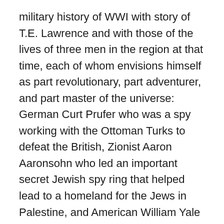military history of WWI with story of T.E. Lawrence and with those of the lives of three men in the region at that time, each of whom envisions himself as part revolutionary, part adventurer, and part master of the universe: German Curt Prufer who was a spy working with the Ottoman Turks to defeat the British, Zionist Aaron Aaronsohn who led an important secret Jewish spy ring that helped lead to a homeland for the Jews in Palestine, and American William Yale (yes, of that Yale fame) who becomes the only American state department representative in the Middle East during the war while also, secretly, working for Standard Oil. In addition, there are the important Arab political figures in the arena